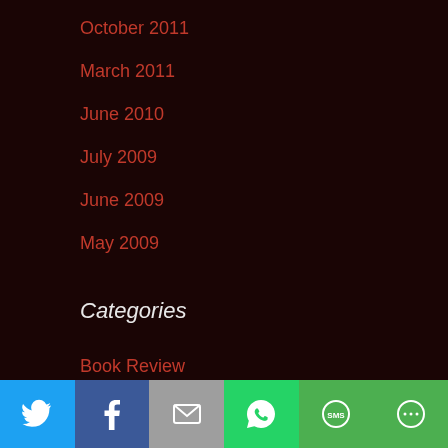October 2011
March 2011
June 2010
July 2009
June 2009
May 2009
Categories
Book Review
book review
Creative Writing
[Figure (infographic): Social sharing bar with icons for Twitter, Facebook, Email, WhatsApp, SMS, and More]